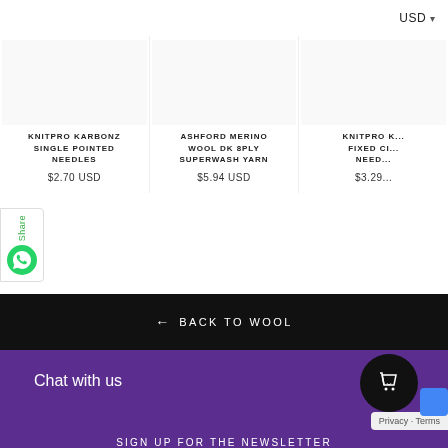USD ▾
KNITPRO KARBONZ SINGLE POINTED NEEDLES
$2.70 USD
ASHFORD MERINO WOOL DK 8PLY SUPERWASH YARN
$5.94 USD
KNITPRO K... FIXED CI... NEED...
$3.29...
Share
← BACK TO WOOL
Chat with us
SIGN UP FOR THE NEWSLETTER
Privacy · Terms